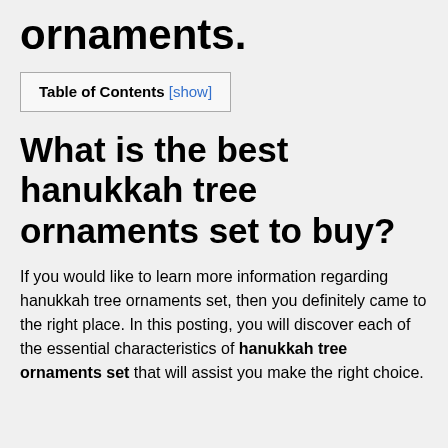ornaments.
| Table of Contents [show] |
What is the best hanukkah tree ornaments set to buy?
If you would like to learn more information regarding hanukkah tree ornaments set, then you definitely came to the right place. In this posting, you will discover each of the essential characteristics of hanukkah tree ornaments set that will assist you make the right choice.